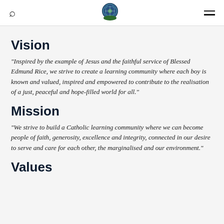[Figure (logo): School crest/badge: circular emblem with blue and green colors, featuring a globe and laurel wreath design]
Vision
"Inspired by the example of Jesus and the faithful service of Blessed Edmund Rice, we strive to create a learning community where each boy is known and valued, inspired and empowered to contribute to the realisation of a just, peaceful and hope-filled world for all."
Mission
"We strive to build a Catholic learning community where we can become people of faith, generosity, excellence and integrity, connected in our desire to serve and care for each other, the marginalised and our environment."
Values